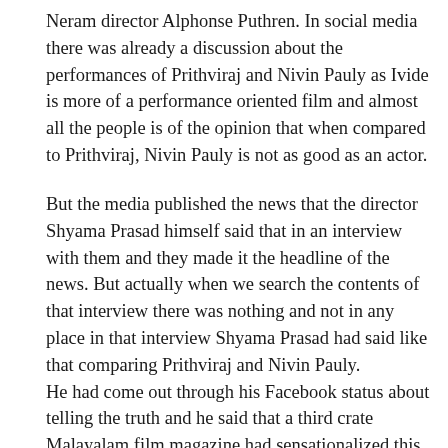Neram director Alphonse Puthren. In social media there was already a discussion about the performances of Prithviraj and Nivin Pauly as Ivide is more of a performance oriented film and almost all the people is of the opinion that when compared to Prithviraj, Nivin Pauly is not as good as an actor.
But the media published the news that the director Shyama Prasad himself said that in an interview with them and they made it the headline of the news. But actually when we search the contents of that interview there was nothing and not in any place in that interview Shyama Prasad had said like that comparing Prithviraj and Nivin Pauly. He had come out through his Facebook status about telling the truth and he said that a third crate Malayalam film magazine had sensationalized this fake news by making it their title of the news. The content of the news has nothing like those in the title and Shyama Prasad said that this